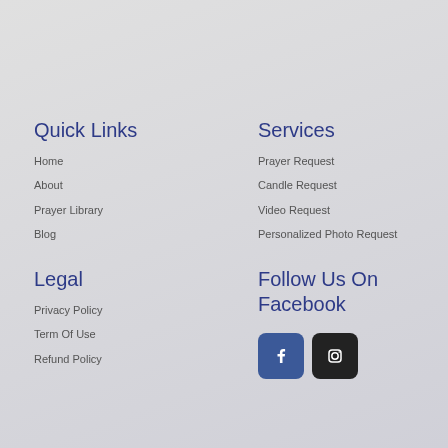Quick Links
Home
About
Prayer Library
Blog
Legal
Privacy Policy
Term Of Use
Refund Policy
Services
Prayer Request
Candle Request
Video Request
Personalized Photo Request
Follow Us On Facebook
[Figure (logo): Facebook icon button (blue rounded square) and Instagram icon button (black rounded square)]